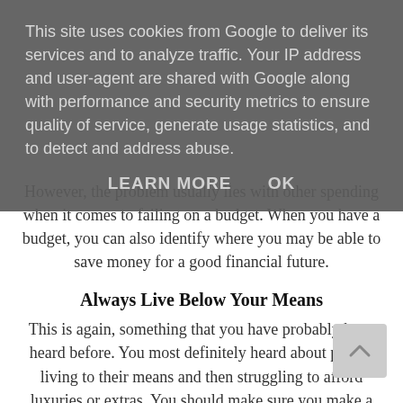This site uses cookies from Google to deliver its services and to analyze traffic. Your IP address and user-agent are shared with Google along with performance and security metrics to ensure quality of service, generate usage statistics, and to detect and address abuse.
LEARN MORE    OK
However, the problem usually lies with other spending when it comes to failing on a budget. When you have a budget, you can also identify where you may be able to save money for a good financial future.
Always Live Below Your Means
This is again, something that you have probably have heard before. You most definitely heard about people living to their means and then struggling to afford luxuries or extras. You should make sure you make a budget and create a living expenditure that is below your means